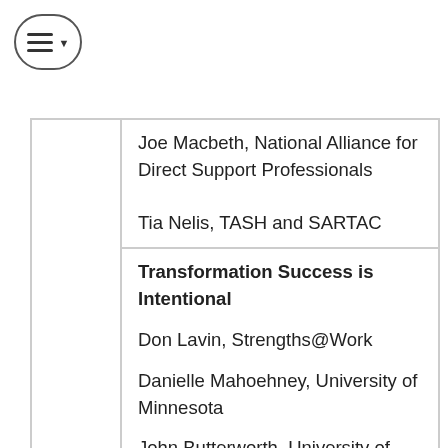[Figure (other): Navigation menu button with hamburger icon and dropdown arrow]
|  |  |
| --- | --- |
|  | Joe Macbeth, National Alliance for Direct Support Professionals

Tia Nelis, TASH and SARTAC |
|  | Transformation Success is Intentional

Don Lavin, Strengths@Work

Danielle Mahoehney, University of Minnesota

John Butterworth, University of Massachusetts Boston |